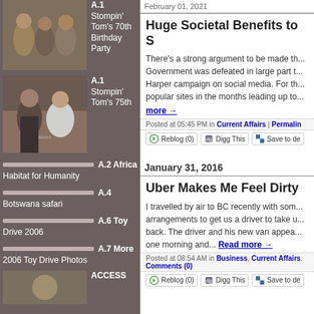[Figure (photo): Group photo at Stompin' Tom's 70th Birthday Party]
A.1 Stompin' Tom's 70th Birthday Party
[Figure (photo): Two men posing at Stompin' Tom's 75th]
A.1 Stompin' Tom's 75th
A.2 Africa
Habitat for Humanity
A.4
Botswana safari
A.6 Toy Drive 2006
A.7 More 2006 Toy Drive Photos
ACCESS
Huge Societal Benefits to S
There's a strong argument to be made th... Government was defeated in large part t... Harper campaign on social media. For th... popular sites in the months leading up to...
more →
Posted at 05:45 PM in Current Affairs | Permalink
Reblog (0)  Digg This  Save to de
January 31, 2016
Uber Makes Me Feel Dirty
I travelled by air to BC recently with som... arrangements to get us a driver to take u... back. The driver and his new van appea... one morning and...
Read more →
Posted at 08:54 AM in Business, Current Affairs, Comments (0)
Reblog (0)  Digg This  Save to de